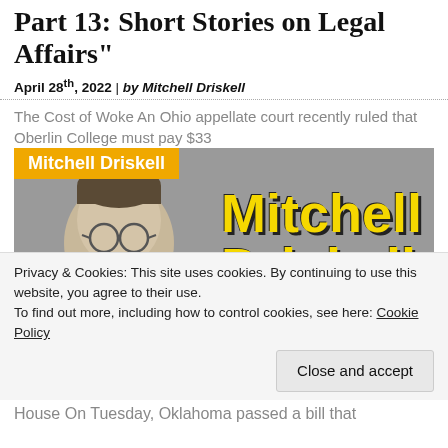Part 13: Short Stories on Legal Affairs”
April 28th, 2022 | by Mitchell Driskell
The Cost of Woke An Ohio appellate court recently ruled that Oberlin College must pay $33
[Figure (photo): Photo of Mitchell Driskell with orange label overlay reading 'Mitchell Driskell' and large yellow bold text 'Mitchell Driskell The Local Lawyer' on grey background]
Privacy & Cookies: This site uses cookies. By continuing to use this website, you agree to their use.
To find out more, including how to control cookies, see here: Cookie Policy
Close and accept
House On Tuesday, Oklahoma passed a bill that